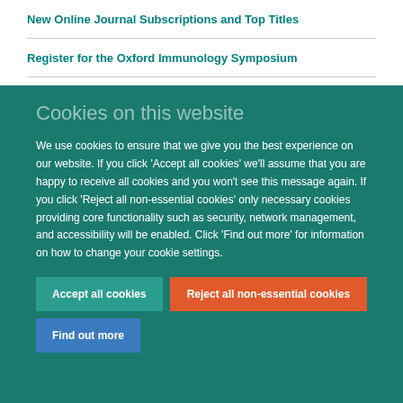New Online Journal Subscriptions and Top Titles
Register for the Oxford Immunology Symposium
Funding Opportunity for Oxford Staff - IT Innovation
Cookies on this website
We use cookies to ensure that we give you the best experience on our website. If you click 'Accept all cookies' we'll assume that you are happy to receive all cookies and you won't see this message again. If you click 'Reject all non-essential cookies' only necessary cookies providing core functionality such as security, network management, and accessibility will be enabled. Click 'Find out more' for information on how to change your cookie settings.
Accept all cookies | Reject all non-essential cookies | Find out more